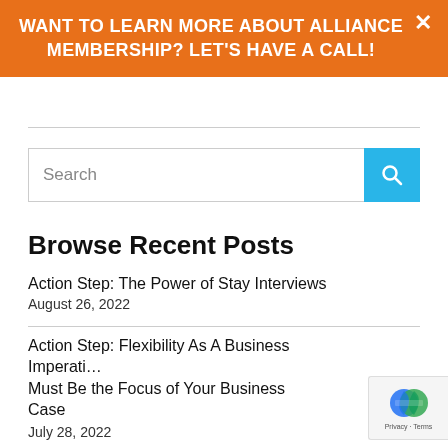WANT TO LEARN MORE ABOUT ALLIANCE MEMBERSHIP? LET'S HAVE A CALL!
[Figure (other): Search bar with text 'Search' and a blue search button with magnifying glass icon]
Browse Recent Posts
Action Step: The Power of Stay Interviews
August 26, 2022
Action Step: Flexibility As A Business Imperative: Must Be the Focus of Your Business Case
July 28, 2022